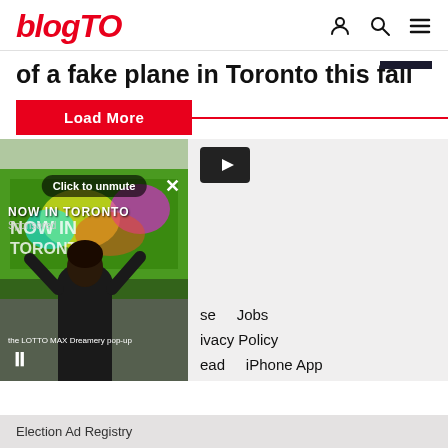blogTO
of a fake plane in Toronto this fall
Load More
[Figure (screenshot): Video overlay showing a woman in black outfit standing in front of a graffiti-covered green truck. Overlay includes 'Click to unmute', 'NOW IN TORONTO', 'Sponsored', a close X button, 'the LOTTO MAX Dreamery pop-up' label, and a pause button.]
[Figure (screenshot): YouTube play button icon on dark background]
se   Jobs
ivacy Policy
ead   iPhone App
Election Ad Registry